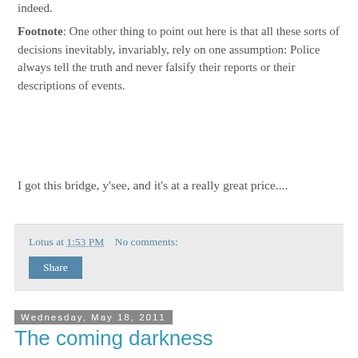indeed.
Footnote: One other thing to point out here is that all these sorts of decisions inevitably, invariably, rely on one assumption: Police always tell the truth and never falsify their reports or their descriptions of events.
I got this bridge, y'see, and it's at a really great price....
Lotus at 1:53 PM   No comments:
Share
Wednesday, May 18, 2011
The coming darkness
Okay, this is from several days ago but I haven't seen it get much attention and it really does boggle the mind and really really does deserve notice. It's from this past Thursday, when the Indianapolis Star reported this: